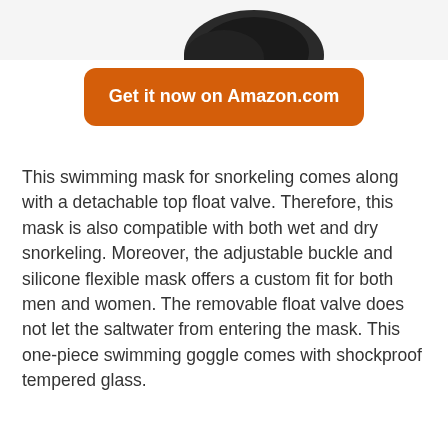[Figure (photo): Partial view of a black snorkeling/swimming mask product, cropped at top of page]
Get it now on Amazon.com
This swimming mask for snorkeling comes along with a detachable top float valve. Therefore, this mask is also compatible with both wet and dry snorkeling. Moreover, the adjustable buckle and silicone flexible mask offers a custom fit for both men and women. The removable float valve does not let the saltwater from entering the mask. This one-piece swimming goggle comes with shockproof tempered glass.